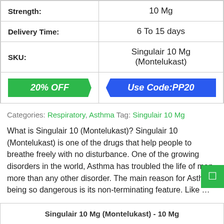|  |  |
| --- | --- |
| Strength: | 10 Mg |
| Delivery Time: | 6 To 15 days |
| SKU: | Singulair 10 Mg (Montelukast) |
| 20% OFF | Use Code:PP20 |
Categories: Respiratory, Asthma Tag: Singulair 10 Mg
What is Singulair 10 (Montelukast)? Singulair 10 (Montelukast) is one of the drugs that help people to breathe freely with no disturbance. One of the growing disorders in the world, Asthma has troubled the life of men more than any other disorder. The main reason for Asthma being so dangerous is its non-terminating feature. Like ...
| Singulair 10 Mg (Montelukast) - 10 Mg |
| --- |